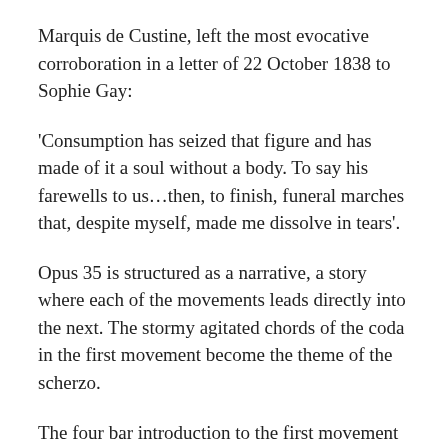Marquis de Custine, left the most evocative corroboration in a letter of 22 October 1838 to Sophie Gay:
'Consumption has seized that figure and has made of it a soul without a body. To say his farewells to us…then, to finish, funeral marches that, despite myself, made me dissolve in tears'.
Opus 35 is structured as a narrative, a story where each of the movements leads directly into the next. The stormy agitated chords of the coda in the first movement become the theme of the scherzo.
The four bar introduction to the first movement marked grave could just as easily be an introduction to the Marché. The finale which is a miniature sonata in